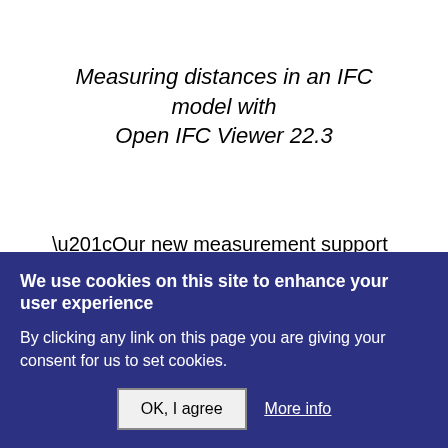Measuring distances in an IFC model with Open IFC Viewer 22.3
“Our new measurement support and 3D PDF publishing make Open IFC Viewer more attractive for professional users,” said Neil Peterson, ODA President. “We’re also pleased to offer features such as anti-aliasing and
We use cookies on this site to enhance your user experience
By clicking any link on this page you are giving your consent for us to set cookies.
OK, I agree   More info